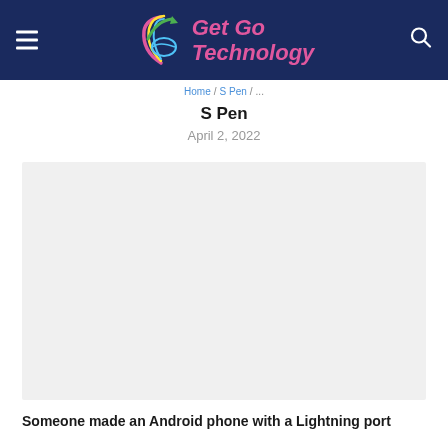[Figure (logo): Get Go Technology website header logo with navigation hamburger menu on left and search icon on right, on dark navy background]
S Pen
April 2, 2022
[Figure (photo): Large placeholder/image area with light gray background]
Someone made an Android phone with a Lightning port